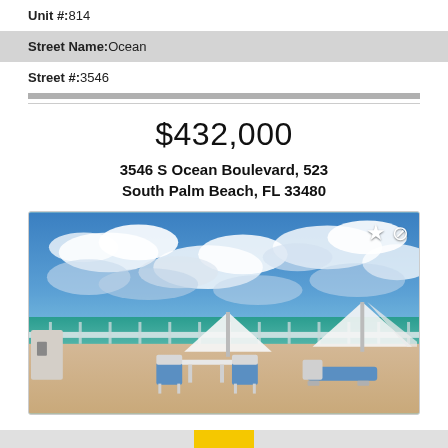Unit #:814
Street Name:Ocean
Street #:3546
$432,000
3546 S Ocean Boulevard, 523
South Palm Beach, FL 33480
[Figure (photo): Outdoor terrace or pool deck with white patio furniture (table and chairs with blue cushions) and beach lounge chairs under white umbrellas, overlooking the ocean with a dramatic cloudy blue sky.]